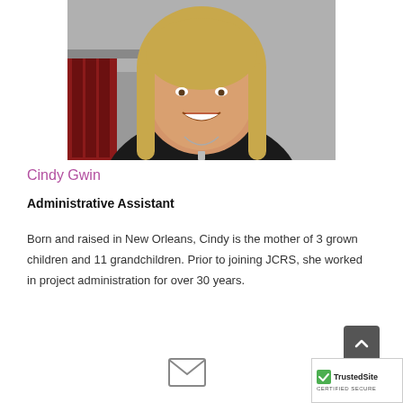[Figure (photo): Headshot photo of Cindy Gwin, a woman with blonde shoulder-length hair wearing a black top with a necklace, smiling, in an office setting with red binders visible in background.]
Cindy Gwin
Administrative Assistant
Born and raised in New Orleans, Cindy is the mother of 3 grown children and 11 grandchildren. Prior to joining JCRS, she worked in project administration for over 30 years.
[Figure (other): Email envelope icon]
[Figure (other): TrustedSite certified secure badge]